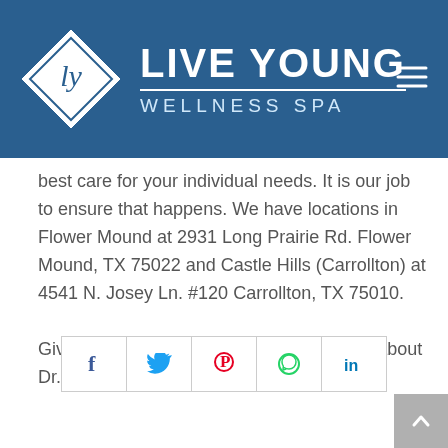LIVE YOUNG WELLNESS SPA
best care for your individual needs. It is our job to ensure that happens. We have locations in Flower Mound at 2931 Long Prairie Rd. Flower Mound, TX 75022 and Castle Hills (Carrollton) at 4541 N. Josey Ln. #120 Carrollton, TX 75010.
Give us a call today! For more information about Dr. Drew Sanderson, click here.
Share this post
[Figure (other): Social share buttons: Facebook, Twitter, Pinterest, WhatsApp, LinkedIn]